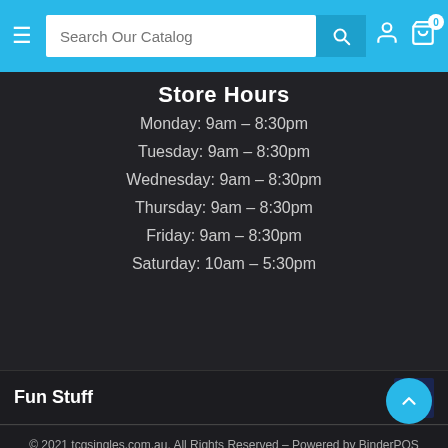Search Our Catalog
Store Hours
Monday: 9am – 8:30pm
Tuesday: 9am – 8:30pm
Wednesday: 9am – 8:30pm
Thursday: 9am – 8:30pm
Friday: 9am – 8:30pm
Saturday: 10am – 5:30pm
Fun Stuff
© 2021 tcgsingles.com.au, All Rights Reserved – Powered by BinderPOS
[Figure (logo): Payment method logos: VISA, PayPal, MasterCard, Zip]